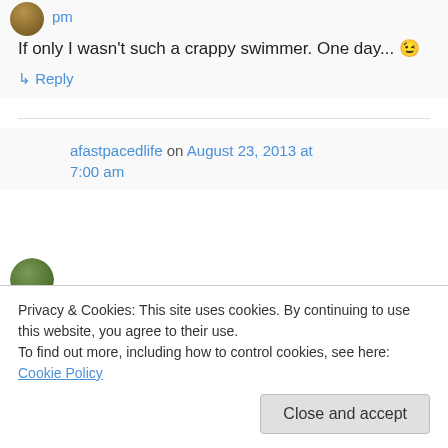pm
If only I wasn't such a crappy swimmer. One day... 😉
↳ Reply
afastpacedlife on August 23, 2013 at 7:00 am
I'm a lousy swimmer too. You don't need to be a good swimmer for
Privacy & Cookies: This site uses cookies. By continuing to use this website, you agree to their use. To find out more, including how to control cookies, see here: Cookie Policy
Close and accept